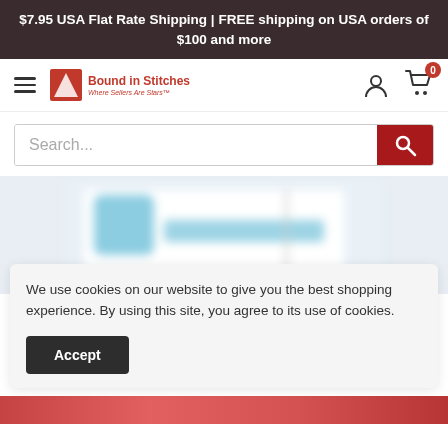$7.95 USA Flat Rate Shipping | FREE shipping on USA orders of $100 and more
[Figure (logo): Bound in Stitches website logo with hamburger menu, account icon, and cart icon showing 0 items]
[Figure (screenshot): Search bar with placeholder text 'Search...' and a red search button]
[Figure (photo): Blurred product image showing a blue icon and text, partially visible]
We use cookies on our website to give you the best shopping experience. By using this site, you agree to its use of cookies.
Accept